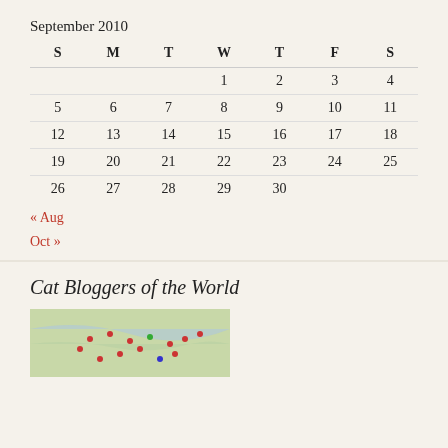| S | M | T | W | T | F | S |
| --- | --- | --- | --- | --- | --- | --- |
|  |  |  | 1 | 2 | 3 | 4 |
| 5 | 6 | 7 | 8 | 9 | 10 | 11 |
| 12 | 13 | 14 | 15 | 16 | 17 | 18 |
| 19 | 20 | 21 | 22 | 23 | 24 | 25 |
| 26 | 27 | 28 | 29 | 30 |  |  |
« Aug
Oct »
Cat Bloggers of the World
[Figure (map): Map showing Cat Bloggers of the World with location pins]